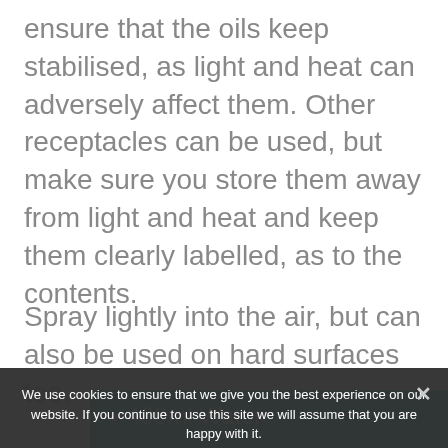ensure that the oils keep stabilised, as light and heat can adversely affect them. Other receptacles can be used, but make sure you store them away from light and heat and keep them clearly labelled, as to the contents.
Spray lightly into the air, but can also be used on hard surfaces too.
400ml Water
100 ml Witch hazel (or vodka!)
We use cookies to ensure that we give you the best experience on our website. If you continue to use this site we will assume that you are happy with it.